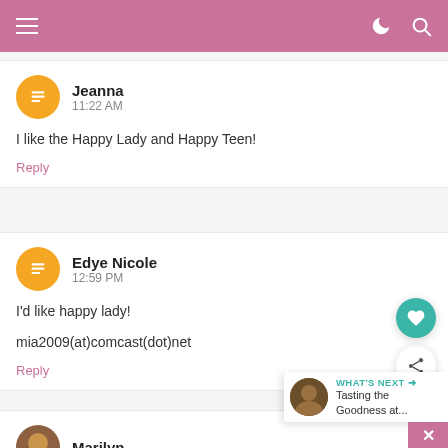Navigation bar with hamburger menu, moon icon, and search icon
Jeanna
11:22 AM
I like the Happy Lady and Happy Teen!
Reply
Edye Nicole
12:59 PM
I'd like happy lady!

mia2009(at)comcast(dot)net
Reply
Marilyn